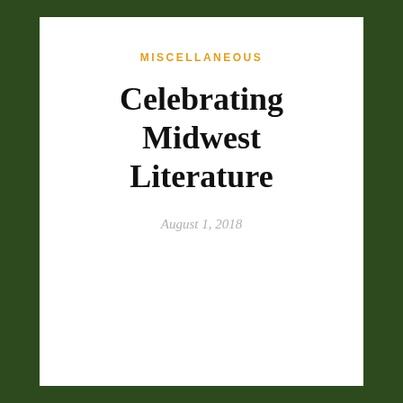MISCELLANEOUS
Celebrating Midwest Literature
August 1, 2018